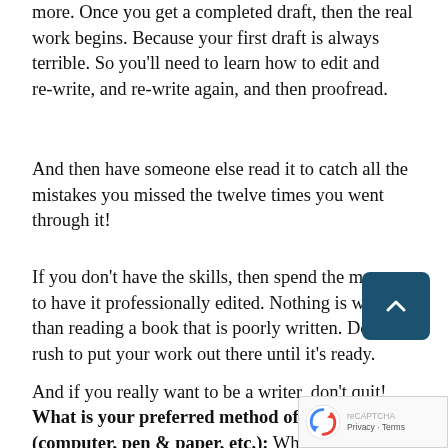more. Once you get a completed draft, then the real work begins. Because your first draft is always terrible. So you'll need to learn how to edit and re-write, and re-write again, and then proofread.
And then have someone else read it to catch all the mistakes you missed the twelve times you went through it!
If you don't have the skills, then spend the money to have it professionally edited. Nothing is worse than reading a book that is poorly written. Don't rush to put your work out there until it's ready.
And if you really want to be a writer, don't quit!
What is your preferred method of writing? (computer, pen & paper, etc.): When I started c (more years ago than I want to discuss...) I wrote